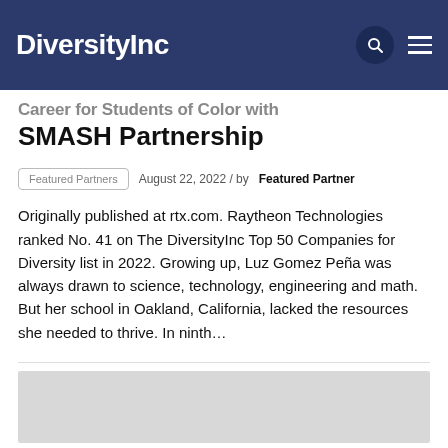DiversityInc
SMASH Partnership
August 22, 2022 / by Featured Partner
Originally published at rtx.com. Raytheon Technologies ranked No. 41 on The DiversityInc Top 50 Companies for Diversity list in 2022. Growing up, Luz Gomez Peña was always drawn to science, technology, engineering and math. But her school in Oakland, California, lacked the resources she needed to thrive. In ninth…